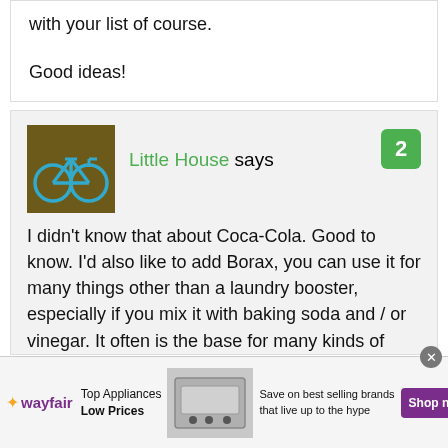with your list of course.
Good ideas!
Little House says
I didn't know that about Coca-Cola. Good to know. I'd also like to add Borax, you can use it for many things other than a laundry booster, especially if you mix it with baking soda and / or vinegar. It often is the base for many kinds of
[Figure (other): Wayfair advertisement banner with logo, Top Appliances Low Prices copy, appliance image, and Shop now button]